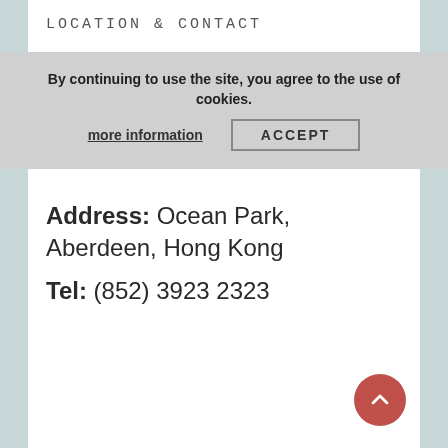LOCATION & CONTACT
By continuing to use the site, you agree to the use of cookies.
more information   ACCEPT
Address: Ocean Park, Aberdeen, Hong Kong
Tel: (852) 3923 2323